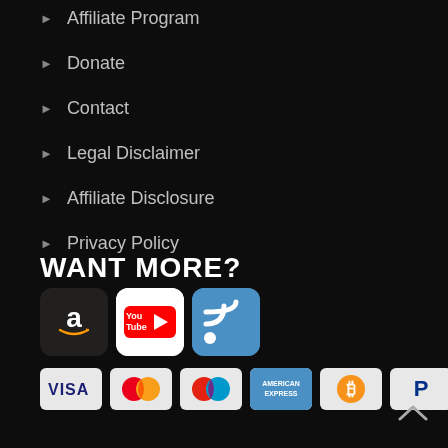Affiliate Program
Donate
Contact
Legal Disclaimer
Affiliate Disclosure
Privacy Policy
WANT MORE?
[Figure (logo): Amazon, YouTube, and RSS feed social/platform icons]
[Figure (logo): Payment method icons: Visa, Mastercard, Maestro, American Express, Bitcoin, PayPal]